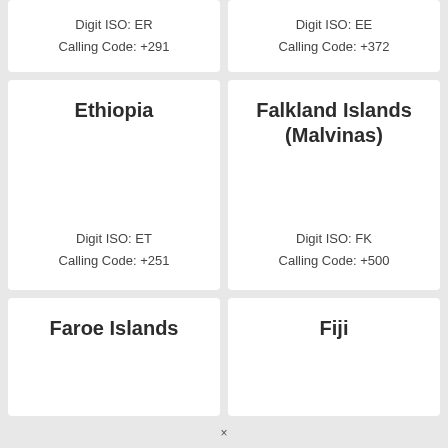Digit ISO: ER
Calling Code: +291
Digit ISO: EE
Calling Code: +372
Ethiopia
Digit ISO: ET
Calling Code: +251
Falkland Islands (Malvinas)
Digit ISO: FK
Calling Code: +500
Faroe Islands
Fiji